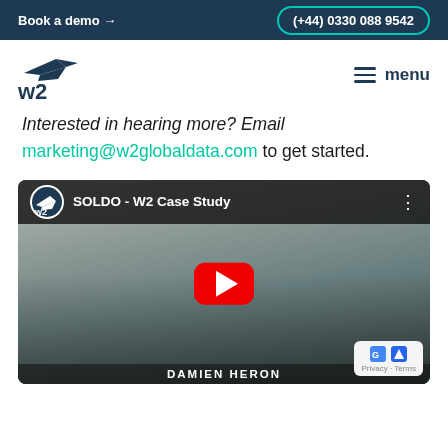Book a demo →    (+44) 0330 088 9542
[Figure (logo): W2 Global Data logo with bird/plane graphic above W2 text]
menu
Interested in hearing more? Email marketing@w2globaldata.com to get started.
[Figure (screenshot): YouTube video embed titled 'SOLDO - W2 Case Study' showing a bald man in front of a bicycle with a red play button overlay. W2 logo in video header. Privacy badge in bottom right corner.]